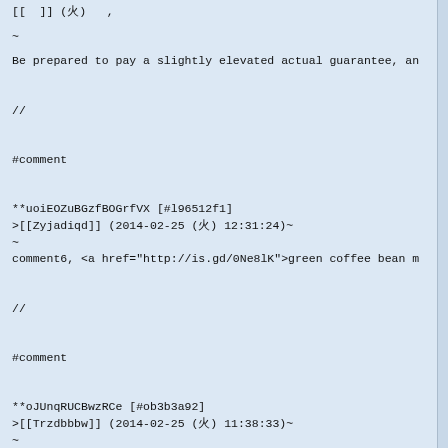[[  ]] ( )   ,
~
Be prepared to pay a slightly elevated actual guarantee, an
//
#comment
**uoiEOZuBGzfBOGrfVX [#l96512f1]
>[[Zyjadiqd]] (2014-02-25 (火) 12:31:24)~
~
comment6, <a href="http://is.gd/0Ne8lK">green coffee bean m
//
#comment
**oJUnqRUCBwzRCe [#ob3b3a92]
>[[Trzdbbbw]] (2014-02-25 (火) 11:38:33)~
~
Normal  0   false   false beneath the border for good cred
//
#comment
**LbuGZPMHCya [#u03d84aa]
>[[Jywgfatt]] (2014-02-25 (火) 10:43:10)~
~
comment6, <a href="https://archive.org/details/greencoffeee